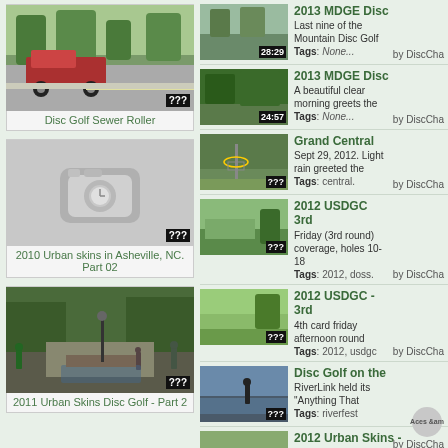[Figure (screenshot): Left column video card: Disc Golf Sewer Roller thumbnail (street scene with red truck), badge: ???]
Disc Golf Sewer Roller
[Figure (screenshot): Left column video card: 2010 Urban skins in Asheville, NC. Part 02 - placeholder camera icon, badge: ???]
2010 Urban skins in Asheville, NC. Part 02
[Figure (screenshot): Left column video card: 2011 Urban Skins Disc Golf - Part 2 thumbnail (outdoor park scene), badge: ???]
2011 Urban Skins Disc Golf - Part 2
[Figure (screenshot): Right list item 1: 2013 MDGE Disc - thumbnail, badge 28:29]
2013 MDGE Disc
Last nine of the Mountain Disc Golf
Tags: None...
by DiscCha
[Figure (screenshot): Right list item 2: 2013 MDGE Disc - thumbnail, badge 24:57]
2013 MDGE Disc
A beautiful clear morning greets the
Tags: None...
by DiscCha
[Figure (screenshot): Right list item 3: Grand Central - thumbnail, badge ???]
Grand Central
Sept 29, 2012. Light rain greeted the
Tags: central.
by DiscCha
[Figure (screenshot): Right list item 4: 2012 USDGC 3rd - thumbnail, badge ???]
2012 USDGC 3rd
Friday (3rd round) coverage, holes 10-18
Tags: 2012, doss.
by DiscCha
[Figure (screenshot): Right list item 5: 2012 USDGC - 3rd - thumbnail, badge ???]
2012 USDGC - 3rd
4th card friday afternoon round
Tags: 2012, usdgc
by DiscCha
[Figure (screenshot): Right list item 6: Disc Golf on the - thumbnail, badge ???, Aces & am badge]
Disc Golf on the
RiverLink held its "Anything That
Tags: riverfest
by DiscCha
[Figure (screenshot): Right list item 7: 2012 Urban Skins - thumbnail (partial)]
2012 Urban Skins -
Here is the 2012